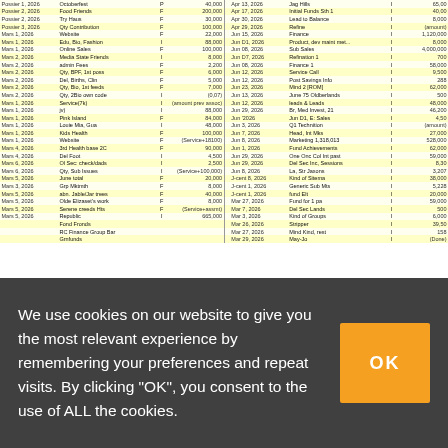| Date | Description | Type | Amount |  | Date | Description | Type | Amount |
| --- | --- | --- | --- | --- | --- | --- | --- | --- |
| Possier 1, 2026 | Octoberfest | P | 40,000 |  | Apr 13, 2026 | Jag Hills | I | 65,00 |
| Possier 2, 2026 | Food Friends | F | 200,000 |  | Apr 17, 2026 | Initial Funds Sth 1 | I | 40,00 |
| Possier 2, 2026 | Try Haus | F | 30,000 |  | Apr 30, 2026 | Lead to Balance | I | 8,000 |
| Possier 3, 2026 | Qty Contribution | F | 100,000 |  | Apr 29, 2026 | Refine | I | (amount) |
| Mars 1, 2026 | Website | F | 22,000 |  | Jun 15, 2026 | Finance | I | 1,120,000 |
| Mars 1, 2026 | Edu, Bio, Fashion | I | 88,000 |  | Jun D1, 2026 | Product, dev maint met... | I | 8,000 |
| Mars 1, 2026 | Online Sales | F | 100,000 |  | Jun 08, 2026 | Sub Sales | I | 4,000,000 |
| Mars 2, 2026 | Media State Friends | I | 8,000 |  | Jun D7, 2026 | Refination 1 | I | 700 |
| Mars 2, 2026 | admin Fees | F | 2,200 |  | Jun 08, 2026 | Finance 1 | I | 58,000 |
| Mars 2, 2026 | Qty, BPF, 1st poss | F | 6,000 |  | Jun 12, 2026 | Service Call | I | 9,500 |
| Mars 2, 2026 | Del, Births, Clin | F | 5,000 |  | Jun 12, 2026 | Post Savings Info | I | 288 |
| Mars 2, 2026 | Qty, Bio, 1st feeds | F | 7,000 |  | Jun 23, 2026 | Mind 2 [ROM] | I | 62,000 |
| Mars 2, 2026 | Qty, 2Bio own code | I | (0,07) |  | Jun 13, 2026 | June 75 Oldberlands | I | 500 |
| Mars 1, 2026 | Service(7k) | I | (amount prev assoc) |  | Jun 12, 2026 | leads & Leads | I | 48,000 |
| Mars 1, 2026 | jv) | I | 88,000 |  | Jun 29, 2026 | Br, Med Invest, 21 | I | 46,200 |
| Mars 1, 2026 | Pink Island | F | 84,000 |  | Jun '2026 | Jun D1, E: Sales | I | 4,50 |
| Mars 1, 2026 | Louie Mia, Gua | I | 48,000 |  | Jun 3, 2026 | Q1 Technition | I | (amount) |
| Mars 1, 2026 | Kids Health | F | 100,000 |  | Jun 7, 2026 | Head, Int Mks | I | 27,000 |
| Mars 1, 2026 | Website | F | (Service+18100) |  | Jun 8, 2026 | Marketing 1,318,013 | I | 528,000 |
| Mars 4, 2026 | 3rd Health base 2C | F | 90,000 |  | Jun 1, 2026 | Fund Achievements | I | 62,000 |
| Mars 4, 2026 | Del Foot | I | 4,500 |  | Jun 29, 2026 | One Onc Col Int past | I | 59,000 |
| Mars 6, 2026 | Ol Sec: check/dads | I | 2,500 |  | Jun 29, 2026 | Del Sec Inc, Sessions | I | 8,30 |
| Mars 6, 2026 | Qty, Sub Issues | I | (Service+ 100,000) |  | Jun 8, 2026 | La, Str Jaxons | I | 3,207 |
| Mars 5, 2026 | June total | F | 20,000 |  | J-cent 8, 2026 | Kind of Sitema | I | 38,000 |
| Mars 3, 2026 | Grp Mktmth | F | 8,000 |  | J-cent 1, 2026 | Generic Sub Mts | I | 5,228 |
| Mars 5, 2026 | abn. Jable/Jar trees | F | 40,000 |  | J-cent 1, 2026 | fund Elt | I | 20,000 |
| Mars 5, 2026 | Olde Elizaset's work | F | 8,000 |  | Mar 27, 2026 | Fund for 1 pa | I | 59,000 |
| Mars 5, 2026 | Serene creeds Hts | F | (Service+assmt) |  | Mar 7, 2026 | Del Sec Lands | I | 500 |
| Mars 5, 2026 | Republic | I | 665,000 |  | Mar 3, 2026 | Kind of Groups | I | 6,000 |
|  | Fond Fronds |  |  |  | Mar 26, 2026 | Stripper | I | 39,50 |
|  | RC Finance Group Bar |  |  |  | Mar 27, 2026 | Mind Kind, rest | I | 158 |
|  | Grnfunds |  |  |  | Mar 29, 2026 | May-Jo | I | (Done) |
We use cookies on our website to give you the most relevant experience by remembering your preferences and repeat visits. By clicking "OK", you consent to the use of ALL the cookies.